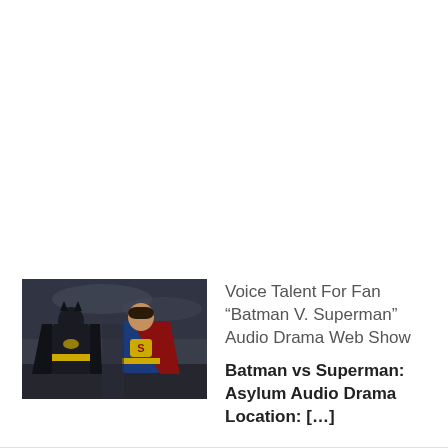[Figure (photo): Thumbnail image showing Batman and Superman standing side by side against a dark stormy background]
Voice Talent For Fan “Batman V. Superman” Audio Drama Web Show
Batman vs Superman: Asylum Audio Drama Location: […]